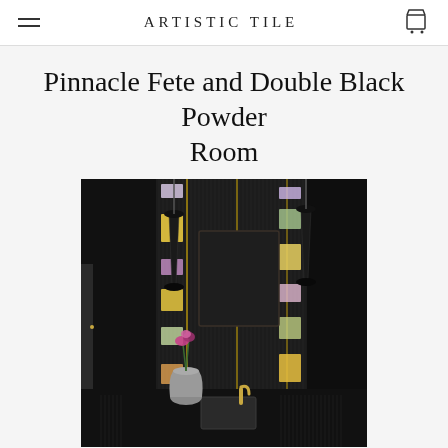ARTISTIC TILE
Pinnacle Fete and Double Black Powder Room
[Figure (photo): Dark powder room bathroom featuring a decorative black ribbed tile wall with colorful mosaic glass tiles arranged vertically around a mirror. Two black cone pendant lights flank the mirror. A metallic vase with pink flowers and a rectangular sink with gold faucet sit on a dark vanity.]